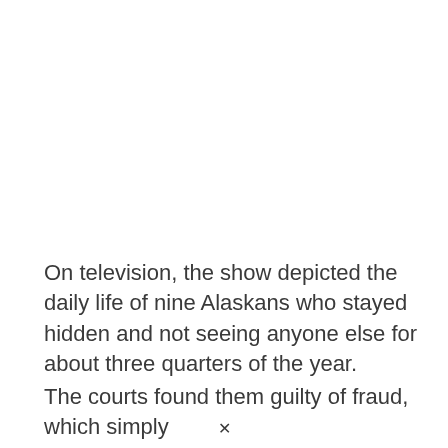On television, the show depicted the daily life of nine Alaskans who stayed hidden and not seeing anyone else for about three quarters of the year.
The courts found them guilty of fraud, which simply